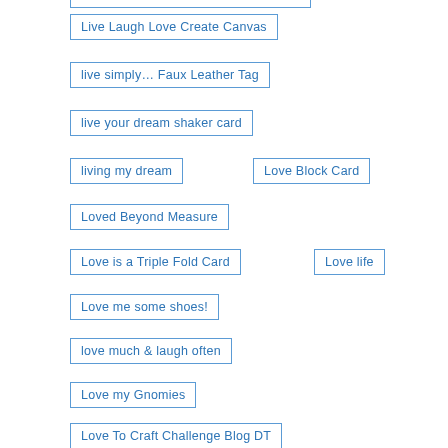Live Laugh Love Create Canvas
live simply… Faux Leather Tag
live your dream shaker card
living my dream
Love Block Card
Loved Beyond Measure
Love is a Triple Fold Card
Love life
Love me some shoes!
love much & laugh often
Love my Gnomies
Love To Craft Challenge Blog DT
Love To Scrap Challenge Blog DT